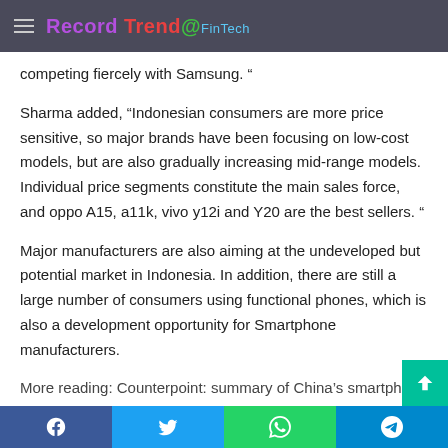Record Trend@FinTech
competing fiercely with Samsung. “
Sharma added, “Indonesian consumers are more price sensitive, so major brands have been focusing on low-cost models, but are also gradually increasing mid-range models. Individual price segments constitute the main sales force, and oppo A15, a11k, vivo y12i and Y20 are the best sellers. “
Major manufacturers are also aiming at the undeveloped but potential market in Indonesia. In addition, there are still a large number of consumers using functional phones, which is also a development opportunity for Smartphone manufacturers.
More reading: Counterpoint: summary of China’s smartphone
Facebook Twitter WhatsApp Telegram